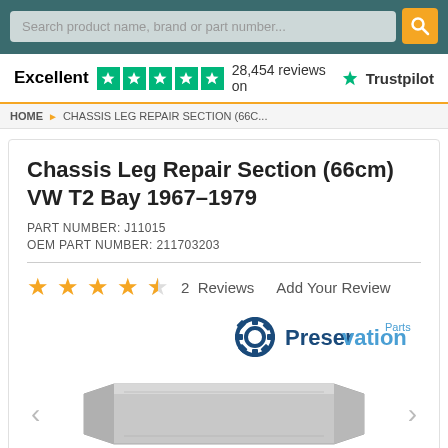Search product name, brand or part number...
Excellent  28,454 reviews on  Trustpilot
HOME > CHASSIS LEG REPAIR SECTION (66C...
Chassis Leg Repair Section (66cm) VW T2 Bay 1967–1979
PART NUMBER: J11015
OEM PART NUMBER: 211703203
★★★★☆  2  Reviews    Add Your Review
[Figure (logo): Preservation Parts logo with gear icon]
[Figure (photo): Chassis Leg Repair Section product image, grey metal component, with left and right navigation arrows]